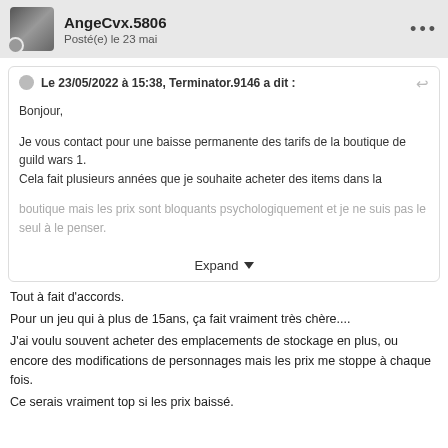AngeCvx.5806 — Posté(e) le 23 mai
Le 23/05/2022 à 15:38, Terminator.9146 a dit :
Bonjour,

Je vous contact pour une baisse permanente des tarifs de la boutique de guild wars 1.
Cela fait plusieurs années que je souhaite acheter des items dans la boutique mais les prix sont bloquants psychologiquement et je ne suis pas le seul à le penser.
Expand
Tout à fait d'accords.
Pour un jeu qui à plus de 15ans, ça fait vraiment très chère....
J'ai voulu souvent acheter des emplacements de stockage en plus, ou encore des modifications de personnages mais les prix me stoppe à chaque fois.
Ce serais vraiment top si les prix baissé.